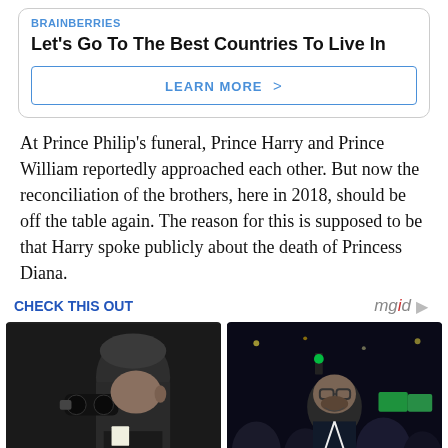[Figure (other): Brainberries ad box: heading 'Let's Go To The Best Countries To Live In' with a 'LEARN MORE >' button]
At Prince Philip's funeral, Prince Harry and Prince William reportedly approached each other. But now the reconciliation of the brothers, here in 2018, should be off the table again. The reason for this is supposed to be that Harry spoke publicly about the death of Princess Diana.
CHECK THIS OUT   mgid ▷
[Figure (photo): Left photo: man looking through binoculars at night]
[Figure (photo): Right photo: man smiling in a crowd at night event with flags]